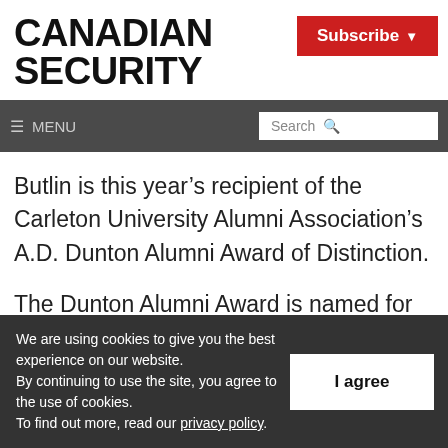CANADIAN SECURITY
Subscribe
≡ MENU | Search
Butlin is this year's recipient of the Carleton University Alumni Association's A.D. Dunton Alumni Award of Distinction.
The Dunton Alumni Award is named for Arnold Davidson Dunton, who was the president of
We are using cookies to give you the best experience on our website.
By continuing to use the site, you agree to the use of cookies.
To find out more, read our privacy policy.